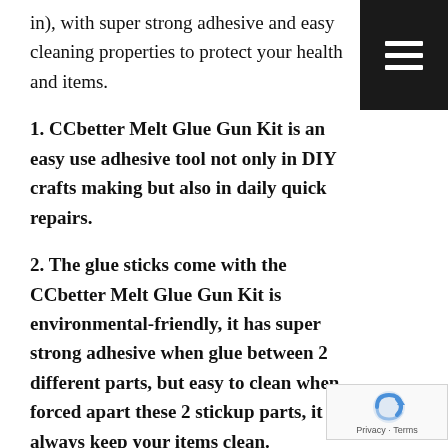in), with super strong adhesive and easy cleaning properties to protect your health and items.
1. CCbetter Melt Glue Gun Kit is an easy use adhesive tool not only in DIY crafts making but also in daily quick repairs.
2. The glue sticks come with the CCbetter Melt Glue Gun Kit is environmental-friendly, it has super strong adhesive when glue between 2 different parts, but easy to clean when forced apart these 2 stickup parts, it will always keep your items clean.
About hot melt glue gun:
Material: Plastic & Aluminum
Working power: 20W